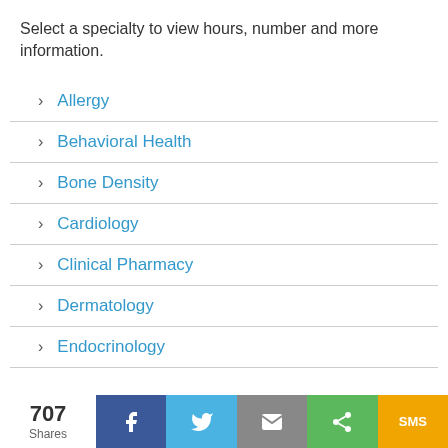Select a specialty to view hours, number and more information.
Allergy
Behavioral Health
Bone Density
Cardiology
Clinical Pharmacy
Dermatology
Endocrinology
707 Shares | Facebook | Twitter | Email | Share | SMS